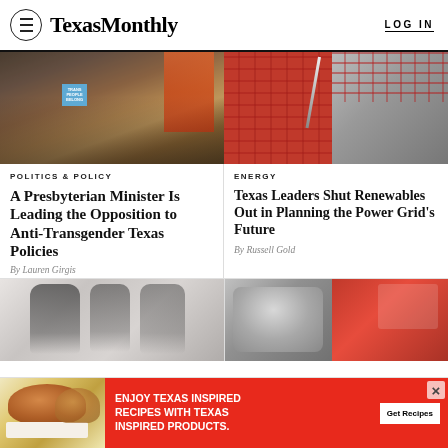Texas Monthly — LOG IN
[Figure (photo): Protesters holding signs including 'Trans People Belong' at what appears to be a government building]
[Figure (photo): Abstract red and gray geometric image with a knife or blade shape, related to energy/power grid story]
POLITICS & POLICY
ENERGY
A Presbyterian Minister Is Leading the Opposition to Anti-Transgender Texas Policies
Texas Leaders Shut Renewables Out in Planning the Power Grid's Future
By Lauren Girgis
By Russell Gold
[Figure (photo): Black and white artistic photograph with ghostly double-exposed or distorted human figures in suits]
[Figure (photo): Composite image with a man's face in black and white on the left and a red-tinted collage on the right]
[Figure (photo): Advertisement: burger/food image alongside red banner reading ENJOY TEXAS INSPIRED RECIPES WITH TEXAS INSPIRED PRODUCTS. with a Get Recipes button]